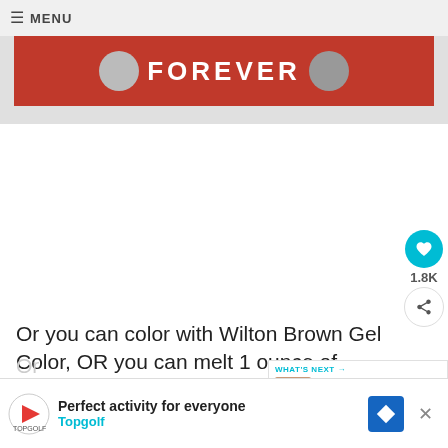≡ MENU
[Figure (photo): Red banner image with circular avatar icons on left and right and bold white text 'FOREVER' in the center]
Or you can color with Wilton Brown Gel Color, OR you can melt 1 ounce of semi-sweet chocolate and mix that into your dough for the brown, orange and candy corn like I did!
[Figure (screenshot): WHAT'S NEXT → CHOCOLATE CHIP COOKI... promotional panel with a thumbnail image of chocolate chip cookies]
[Figure (screenshot): Bottom advertisement banner: Perfect activity for everyone – Topgolf, with Topgolf logo and map marker icon]